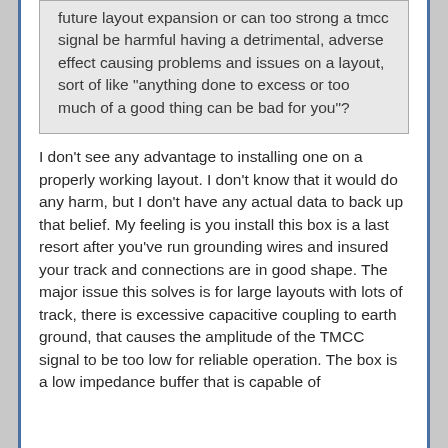future layout expansion or can too strong a tmcc signal be harmful having a detrimental, adverse effect causing problems and issues on a layout, sort of like "anything done to excess or too much of a good thing can be bad for you"?
I don't see any advantage to installing one on a properly working layout. I don't know that it would do any harm, but I don't have any actual data to back up that belief. My feeling is you install this box is a last resort after you've run grounding wires and insured your track and connections are in good shape. The major issue this solves is for large layouts with lots of track, there is excessive capacitive coupling to earth ground, that causes the amplitude of the TMCC signal to be too low for reliable operation. The box is a low impedance buffer that is capable of